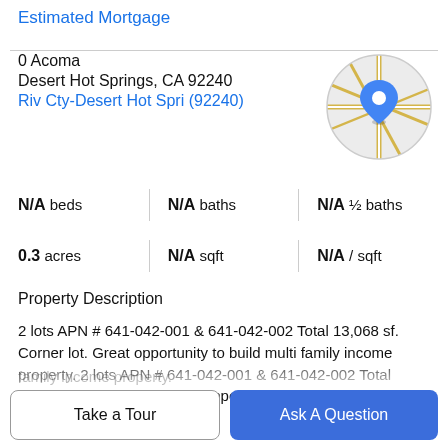Estimated Mortgage
0 Acoma
Desert Hot Springs, CA 92240
Riv Cty-Desert Hot Spri (92240)
[Figure (map): Circular map thumbnail showing street map with a blue location pin marker]
N/A beds | N/A baths | N/A ½ baths
0.3 acres | N/A sqft | N/A / sqft
Property Description
2 lots APN # 641-042-001 & 641-042-002 Total 13,068 sf. Corner lot. Great opportunity to build multi family income property. 2 lots APN # 641-042-001 & 641-042-002 Total 13,068 sf. Corner lot. Great opportunity to build multi family income property.
Take a Tour
Ask A Question